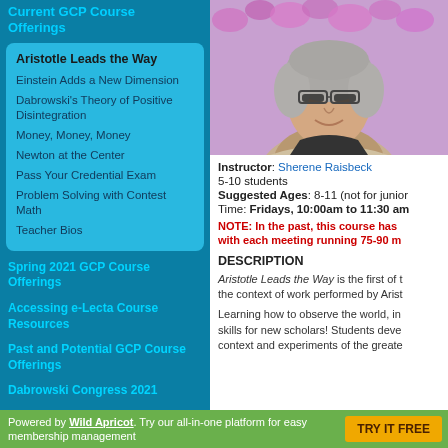Current GCP Course Offerings
Aristotle Leads the Way
Einstein Adds a New Dimension
Dabrowski's Theory of Positive Disintegration
Money, Money, Money
Newton at the Center
Pass Your Credential Exam
Problem Solving with Contest Math
Teacher Bios
Spring 2021 GCP Course Offerings
Accessing e-Lecta Course Resources
Past and Potential GCP Course Offerings
Dabrowski Congress 2021
[Figure (photo): Photo of instructor Sherene Raisbeck, a woman with gray hair and glasses, in front of purple flowers]
Instructor: Sherene Raisbeck
5-10 students
Suggested Ages: 8-11 (not for junior
Time: Fridays, 10:00am to 11:30 am
NOTE: In the past, this course has with each meeting running 75-90 m
DESCRIPTION
Aristotle Leads the Way is the first of the context of work performed by Arist
Learning how to observe the world, in skills for new scholars! Students deve context and experiments of the greate
Powered by Wild Apricot. Try our all-in-one platform for easy membership management  TRY IT FREE